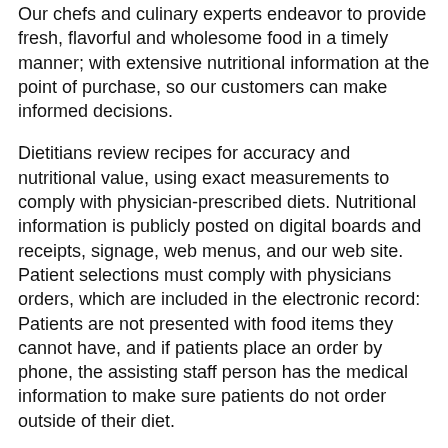Our chefs and culinary experts endeavor to provide fresh, flavorful and wholesome food in a timely manner; with extensive nutritional information at the point of purchase, so our customers can make informed decisions.
Dietitians review recipes for accuracy and nutritional value, using exact measurements to comply with physician-prescribed diets. Nutritional information is publicly posted on digital boards and receipts, signage, web menus, and our web site. Patient selections must comply with physicians orders, which are included in the electronic record: Patients are not presented with food items they cannot have, and if patients place an order by phone, the assisting staff person has the medical information to make sure patients do not order outside of their diet.
Introducing Smart Choice!
WebMenus – café menus published in real time with nutritional and allergen information